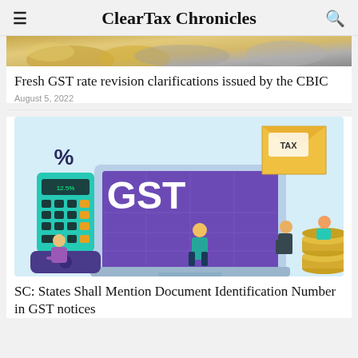ClearTax Chronicles
[Figure (photo): Partial view of gold coins and financial imagery at the top of first article]
Fresh GST rate revision clarifications issued by the CBIC
August 5, 2022
[Figure (illustration): GST illustration showing a laptop with 'GST' text on screen, a calculator with a percentage symbol, cartoon figures of people, a tax document envelope, and stacked gold coins]
SC: States Shall Mention Document Identification Number in GST notices